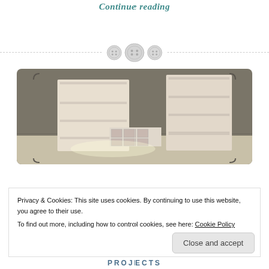Continue reading
[Figure (illustration): Three button icons arranged horizontally with a dashed divider line across the full width]
[Figure (photo): Photo of white/cream wooden bookshelves arranged in an L-shape in a room with grey walls, with small decorative drawers at the bottom center]
Privacy & Cookies: This site uses cookies. By continuing to use this website, you agree to their use.
To find out more, including how to control cookies, see here: Cookie Policy
Close and accept
PROJECTS